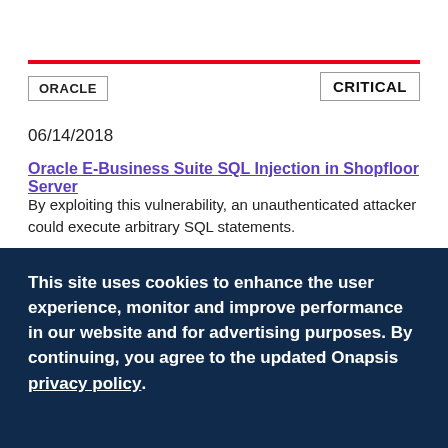ORACLE
CRITICAL
06/14/2018
Oracle E-Business Suite SQL Injection in Shopfloor Server
By exploiting this vulnerability, an unauthenticated attacker could execute arbitrary SQL statements.
This site uses cookies to enhance the user experience, monitor and improve performance in our website and for advertising purposes. By continuing, you agree to the updated Onapsis privacy policy.
ACCEPT